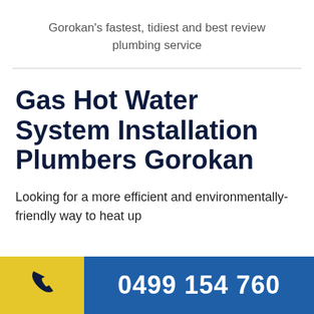Gorokan's fastest, tidiest and best review plumbing service
Gas Hot Water System Installation Plumbers Gorokan
Looking for a more efficient and environmentally-friendly way to heat up
0499 154 760